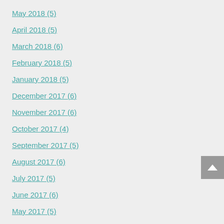May 2018 (5)
April 2018 (5)
March 2018 (6)
February 2018 (5)
January 2018 (5)
December 2017 (6)
November 2017 (6)
October 2017 (4)
September 2017 (5)
August 2017 (6)
July 2017 (5)
June 2017 (6)
May 2017 (5)